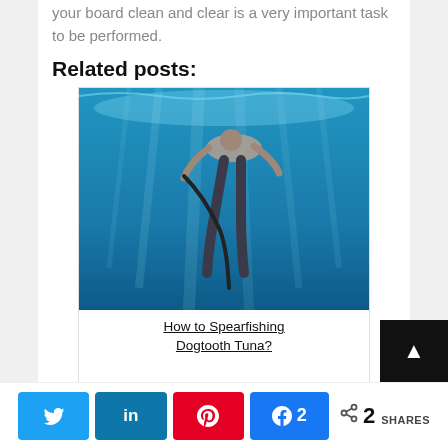your board clean and clear is a very important task to be performed.
Related posts:
[Figure (photo): Underwater photo of a person freediving/spearfishing, blue water with light rays]
How to Spearfishing Dogtooth Tuna?
[Figure (photo): Sunset or dusk sky with pink and blue hues over water]
Twitter share button, LinkedIn share button, Pinterest share button, Facebook share with count 2, share icon with 2 SHARES